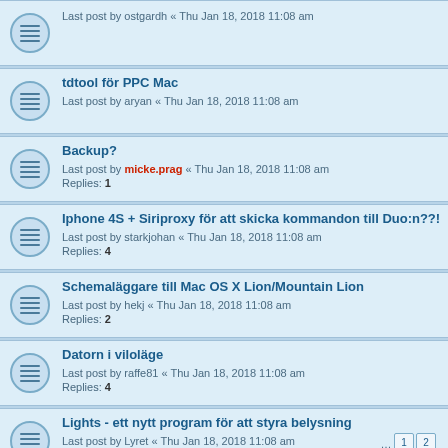Last post by ostgardh « Thu Jan 18, 2018 11:08 am
tdtool för PPC Mac
Last post by aryan « Thu Jan 18, 2018 11:08 am
Backup?
Last post by micke.prag « Thu Jan 18, 2018 11:08 am
Replies: 1
Iphone 4S + Siriproxy för att skicka kommandon till Duo:n??!
Last post by starkjohan « Thu Jan 18, 2018 11:08 am
Replies: 4
Schemaläggare till Mac OS X Lion/Mountain Lion
Last post by hekj « Thu Jan 18, 2018 11:08 am
Replies: 2
Datorn i viloläge
Last post by raffe81 « Thu Jan 18, 2018 11:08 am
Replies: 4
Lights - ett nytt program för att styra belysning
Last post by Lyret « Thu Jan 18, 2018 11:08 am
Replies: 23
TelldusCenter OS X 10.7.2 fryser dagligen
Last post by hekj « Thu Jan 18, 2018 11:08 am
Replies: 12
OS X Scheduler
Last post by hbilsbak@gmail.com « Thu Jan 18, 2018 11:08 am
Tellstick problem Lion